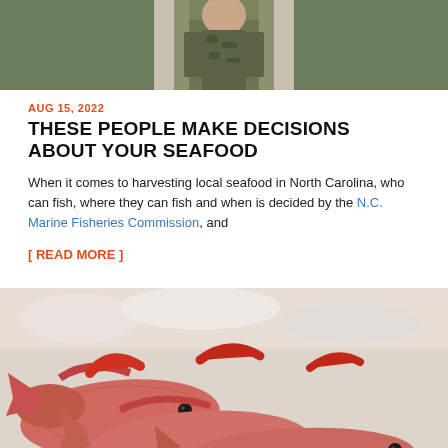[Figure (photo): Person wearing camouflage shirt, partial upper body view, outdoor setting]
AUG 15, 2022
THESE PEOPLE MAKE DECISIONS ABOUT YOUR SEAFOOD
When it comes to harvesting local seafood in North Carolina, who can fish, where they can fish and when is decided by the N.C. Marine Fisheries Commission, and
[ READ MORE ]
[Figure (photo): Multiple red snapper fish arranged on ice, viewed from above, pink/red coloring]